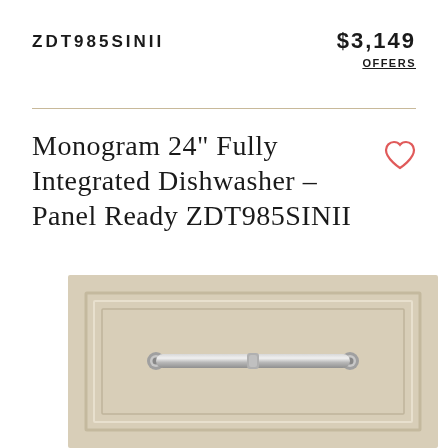ZDT985SINII
$3,149
OFFERS
Monogram 24" Fully Integrated Dishwasher – Panel Ready ZDT985SINII
[Figure (photo): Cream/beige panel-ready dishwasher door with a brushed stainless steel bar handle, shown with a raised-panel cabinet door design.]